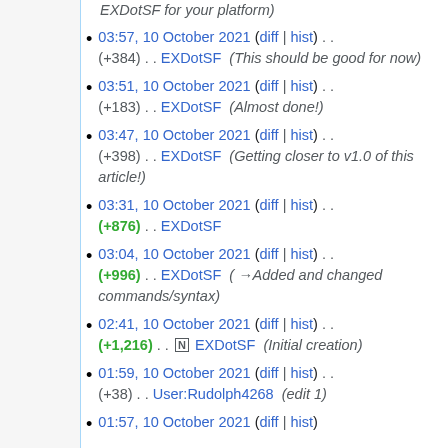03:57, 10 October 2021 (diff | hist) . . (+384) . . EXDotSF (This should be good for now)
03:51, 10 October 2021 (diff | hist) . . (+183) . . EXDotSF (Almost done!)
03:47, 10 October 2021 (diff | hist) . . (+398) . . EXDotSF (Getting closer to v1.0 of this article!)
03:31, 10 October 2021 (diff | hist) . . (+876) . . EXDotSF
03:04, 10 October 2021 (diff | hist) . . (+996) . . EXDotSF (→Added and changed commands/syntax)
02:41, 10 October 2021 (diff | hist) . . (+1,216) . . N EXDotSF (Initial creation)
01:59, 10 October 2021 (diff | hist) . . (+38) . . User:Rudolph4268 (edit 1)
01:57, 10 October 2021 (diff | hist)